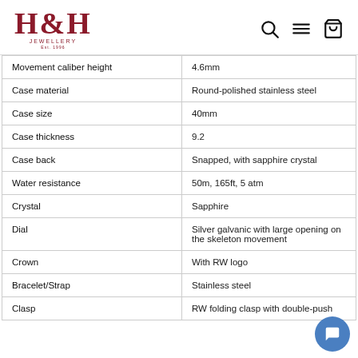[Figure (logo): H&H Jewellery logo with Est. 1996 text, in dark red/burgundy color]
| Property | Value |
| --- | --- |
| Movement caliber height | 4.6mm |
| Case material | Round-polished stainless steel |
| Case size | 40mm |
| Case thickness | 9.2 |
| Case back | Snapped, with sapphire crystal |
| Water resistance | 50m, 165ft, 5 atm |
| Crystal | Sapphire |
| Dial | Silver galvanic with large opening on the skeleton movement |
| Crown | With RW logo |
| Bracelet/Strap | Stainless steel |
| Clasp | RW folding clasp with double-push |